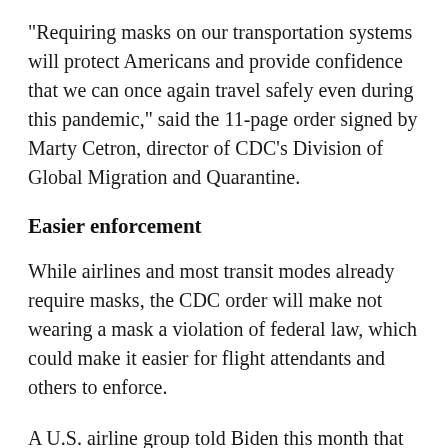"Requiring masks on our transportation systems will protect Americans and provide confidence that we can once again travel safely even during this pandemic," said the 11-page order signed by Marty Cetron, director of CDC's Division of Global Migration and Quarantine.
Easier enforcement
While airlines and most transit modes already require masks, the CDC order will make not wearing a mask a violation of federal law, which could make it easier for flight attendants and others to enforce.
A U.S. airline group told Biden this month that carriers had had to bar "thousands of passengers" from future flights for failing to comply with airline mask policies.